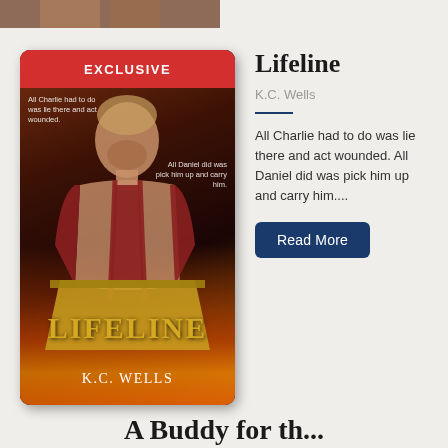[Figure (illustration): Partial book cover visible at top of page, cropped]
[Figure (illustration): Book cover for 'Lifeline' by K.C. Wells. Red exclusive banner at top, shirtless male figure with beard holding open a jacket, fire effects at bottom, title 'LIFELINE' in gold letters, author name 'K.C. WELLS' in white. Text overlays read 'All Charlie had to do was lie there and act wounded.' and 'All Daniel did was pick him up and carry him.']
Lifeline
K.C. Wells
All Charlie had to do was lie there and act wounded. All Daniel did was pick him up and carry him....
Read More
A Buddy for the...